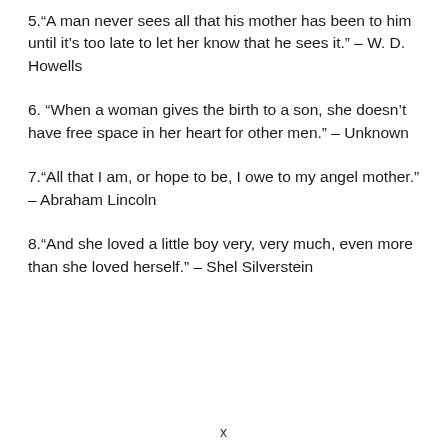5.“A man never sees all that his mother has been to him until it’s too late to let her know that he sees it.” – W. D. Howells
6. “When a woman gives the birth to a son, she doesn’t have free space in her heart for other men.” – Unknown
7.“All that I am, or hope to be, I owe to my angel mother.” – Abraham Lincoln
8.“And she loved a little boy very, very much, even more than she loved herself.” – Shel Silverstein
x